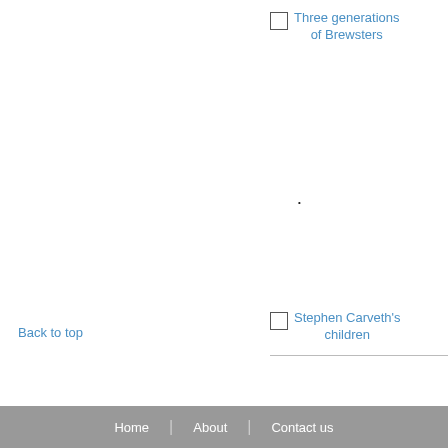Three generations of Brewsters
Fran... fam... Hiesel F... Papillio...
Stephen Carveth's children
Mai... Vall...
Back to top
Home | About | Contact us